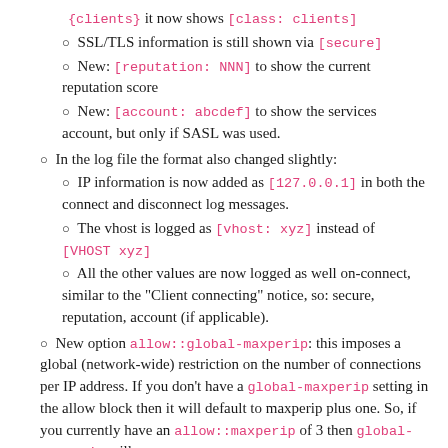{clients} it now shows [class: clients]
SSL/TLS information is still shown via [secure]
New: [reputation: NNN] to show the current reputation score
New: [account: abcdef] to show the services account, but only if SASL was used.
In the log file the format also changed slightly:
IP information is now added as [127.0.0.1] in both the connect and disconnect log messages.
The vhost is logged as [vhost: xyz] instead of [VHOST xyz]
All the other values are now logged as well on-connect, similar to the "Client connecting" notice, so: secure, reputation, account (if applicable).
New option allow::global-maxperip: this imposes a global (network-wide) restriction on the number of connections per IP address. If you don't have a global-maxperip setting in the allow block then it will default to maxperip plus one. So, if you currently have an allow::maxperip of 3 then global-maxperip will